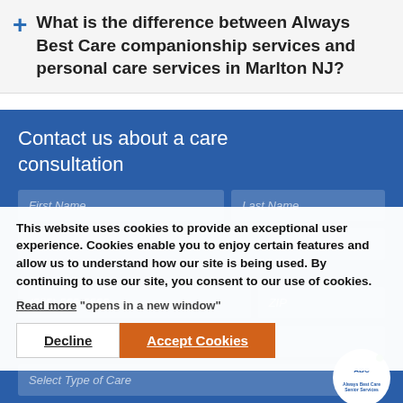What is the difference between Always Best Care companionship services and personal care services in Marlton NJ?
Contact us about a care consultation
This website uses cookies to provide an exceptional user experience. Cookies enable you to enjoy certain features and allow us to understand how our site is being used. By continuing to use our site, you consent to our use of cookies.
Read more "opens in a new window"
Decline   Accept Cookies
[Figure (logo): Always Best Care Senior Services logo in white circle with green dot]